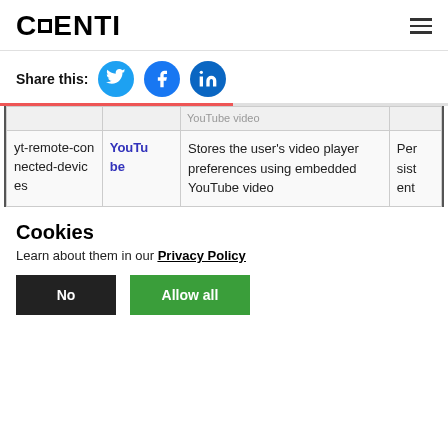CENTI
Share this:
|  | YouTube |  |  |
| --- | --- | --- | --- |
|  | YouTube video |  |  |
| yt-remote-connected-devices | YouTube | Stores the user's video player preferences using embedded YouTube video | Persistent |
Cookies
Learn about them in our Privacy Policy
No
Allow all